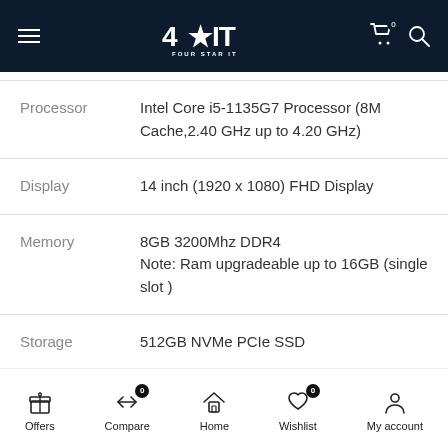Four Star IT — navigation header with logo, cart, and search icons
| Attribute | Value |
| --- | --- |
| Processor | Intel Core i5-1135G7 Processor (8M Cache,2.40 GHz up to 4.20 GHz) |
| Display | 14 inch (1920 x 1080) FHD Display |
| Memory | 8GB 3200Mhz DDR4
Note: Ram upgradeable up to 16GB (single slot ) |
| Storage | 512GB NVMe PCIe SSD |
| Graphics | Nvidia MX450 2GB Graphics |
Offers | Compare (0) | Home | Wishlist (0) | My account